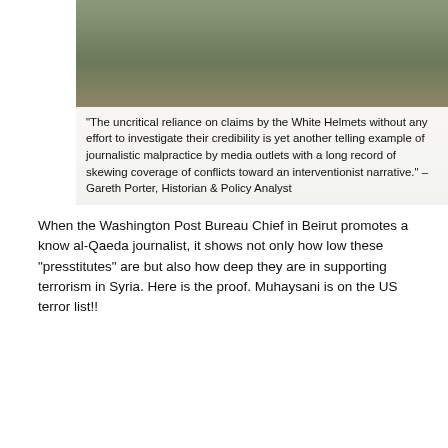[Figure (photo): Photo showing a conflict/war scene with an overlaid quote text box at the bottom reading: "The uncritical reliance on claims by the White Helmets without any effort to investigate their credibility is yet another telling example of journalistic malpractice by media outlets with a long record of skewing coverage of conflicts toward an interventionist narrative." – Gareth Porter, Historian & Policy Analyst]
When the Washington Post Bureau Chief in Beirut promotes a know al-Qaeda journalist, it shows not only how low these "presstitutes" are but also how deep they are in supporting terrorism in Syria. Here is the proof. Muhaysani is on the US terror list!!
[Figure (photo): Left photo showing two men in dark clothing sitting and shaking hands on a couch. Right side shows two stacked photos: top photo showing armed masked fighters in camouflage with a man in white, bottom photo showing an interior scene.]